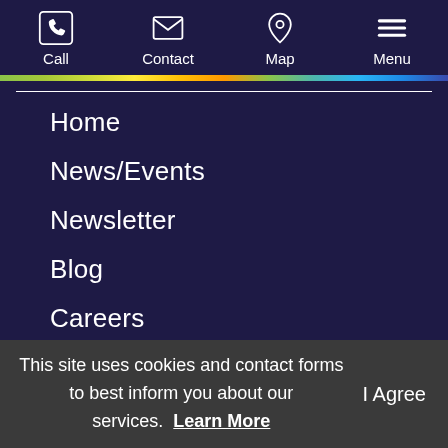Call | Contact | Map | Menu
Home
News/Events
Newsletter
Blog
Careers
Contact
Directions
Privacy Policy
This site uses cookies and contact forms to best inform you about our services.  Learn More
I Agree